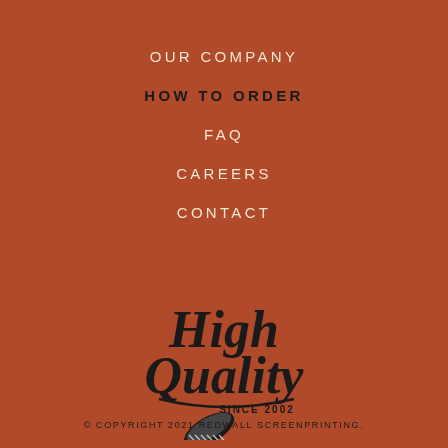OUR COMPANY
HOW TO ORDER
FAQ
CAREERS
CONTACT
[Figure (logo): High Quality Since 2002 screenprinting logo with script lettering and a squeegee icon]
© COPYRIGHT 2021 REDWALL SCREENPRINTING.